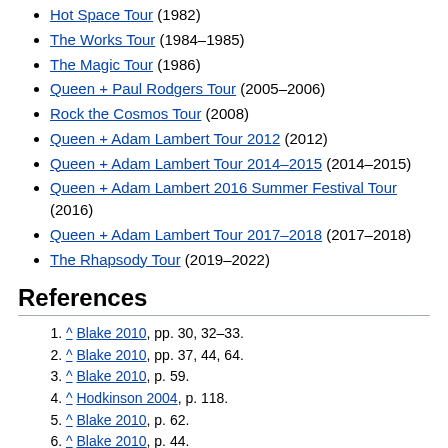Hot Space Tour (1982)
The Works Tour (1984–1985)
The Magic Tour (1986)
Queen + Paul Rodgers Tour (2005–2006)
Rock the Cosmos Tour (2008)
Queen + Adam Lambert Tour 2012 (2012)
Queen + Adam Lambert Tour 2014–2015 (2014–2015)
Queen + Adam Lambert 2016 Summer Festival Tour (2016)
Queen + Adam Lambert Tour 2017–2018 (2017–2018)
The Rhapsody Tour (2019–2022)
References
^ Blake 2010, pp. 30, 32–33.
^ Blake 2010, pp. 37, 44, 64.
^ Blake 2010, p. 59.
^ Hodkinson 2004, p. 118.
^ Blake 2010, p. 62.
^ Blake 2010, p. 44.
^ "Freddie Mercury's complex relationship with Zanzibar". BBC. Retrieved 28 February 2019.
^ Blake 2010, p. 56-57.
^ Blake 2010, p. 65.
^ Dean 1986, p. 7.